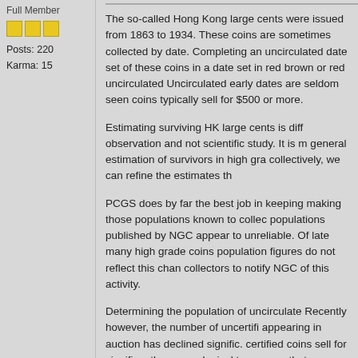Full Member
Posts: 220
Karma: 15
The so-called Hong Kong large cents were issued from 1863 to 1934. These coins are sometimes collected by date. Completing an uncirculated date set of these coins is very difficult. Completing a date set in red brown or red uncirculated is a real challenge. Uncirculated early dates are seldom seen and when they do appear coins typically sell for $500 or more.
Estimating surviving HK large cents is difficult, based on observation and not scientific study. It is my hope to provide a general estimation of survivors in high grade. If we contribute collectively, we can refine the estimates through collaboration.
PCGS does by far the best job in keeping populations and making those populations known to collectors. The coin populations published by NGC appear to be seriously unreliable. Of late many high grade coins have been cracked out, population figures do not reflect this change. I would urge collectors to notify NGC of this activity.
Determining the population of uncirculated coins is tricky. Recently however, the number of uncertified uncirculated coins appearing in auction has declined significantly. Since certified coins sell for significantly more when certified, it seems logical to assume that an expensive coin worth certifying. It may be possible to find great uncertified coins.